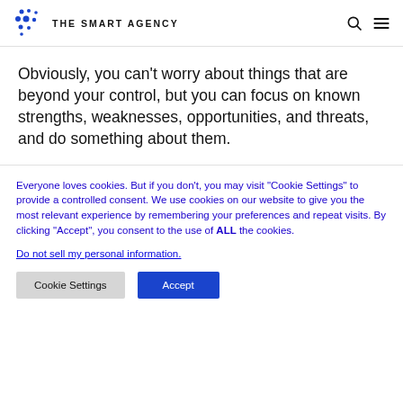THE SMART AGENCY
Obviously, you can't worry about things that are beyond your control, but you can focus on known strengths, weaknesses, opportunities, and threats, and do something about them.
Everyone loves cookies. But if you don't, you may visit "Cookie Settings" to provide a controlled consent. We use cookies on our website to give you the most relevant experience by remembering your preferences and repeat visits. By clicking "Accept", you consent to the use of ALL the cookies.
Do not sell my personal information.